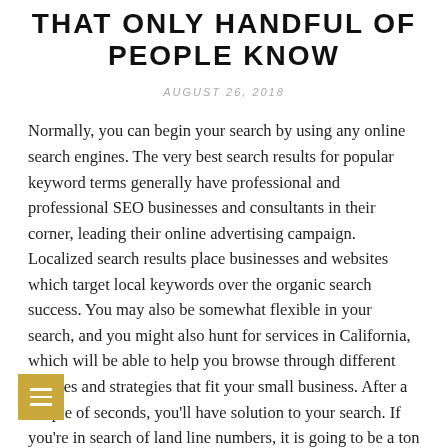THAT ONLY HANDFUL OF PEOPLE KNOW
AUGUST 26, 2018
Normally, you can begin your search by using any online search engines. The very best search results for popular keyword terms generally have professional and professional SEO businesses and consultants in their corner, leading their online advertising campaign. Localized search results place businesses and websites which target local keywords over the organic search success. You may also be somewhat flexible in your search, and you might also hunt for services in California, which will be able to help you browse through different choices and strategies that fit your small business. After a couple of seconds, you'll have solution to your search. If you're in search of land line numbers, it is going to be a ton simpler. As Google local listing is